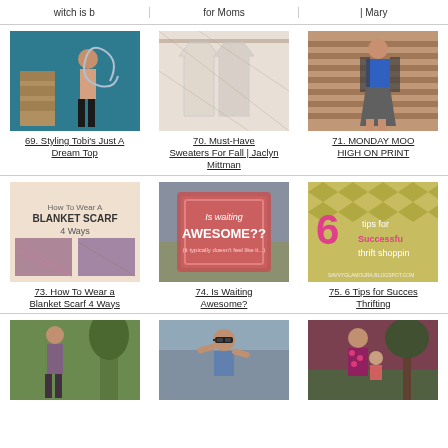witch is b
for Moms
| Mary
[Figure (photo): Woman in black shorts and tank top standing against teal wall]
69. Styling Tobi's Just A Dream Top
[Figure (photo): White/beige sweaters hanging on rack]
70. Must-Have Sweaters For Fall | Jaclyn Mittman
[Figure (photo): Woman in blue blouse and patterned jacket outdoors]
71. MONDAY MOO HIGH ON PRINT
[Figure (photo): How To Wear A Blanket Scarf 4 Ways collage]
73. How To Wear a Blanket Scarf 4 Ways
[Figure (photo): Is waiting AWESOME?? graphic with coral/pink design]
74. Is Waiting Awesome?
[Figure (photo): 6 tips for Successful thrift shopping graphic]
75. 6 Tips for Succes Thrifting
[Figure (photo): Woman standing outdoors near trees in floral top]
[Figure (photo): Woman with sunglasses outdoors]
[Figure (photo): Woman holding child outdoors]